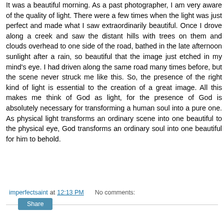It was a beautiful morning. As a past photographer, I am very aware of the quality of light. There were a few times when the light was just perfect and made what I saw extraordinarily beautiful. Once I drove along a creek and saw the distant hills with trees on them and clouds overhead to one side of the road, bathed in the late afternoon sunlight after a rain, so beautiful that the image just etched in my mind's eye. I had driven along the same road many times before, but the scene never struck me like this. So, the presence of the right kind of light is essential to the creation of a great image. All this makes me think of God as light, for the presence of God is absolutely necessary for transforming a human soul into a pure one. As physical light transforms an ordinary scene into one beautiful to the physical eye, God transforms an ordinary soul into one beautiful for him to behold.
imperfectsaint at 12:13 PM    No comments:
Share